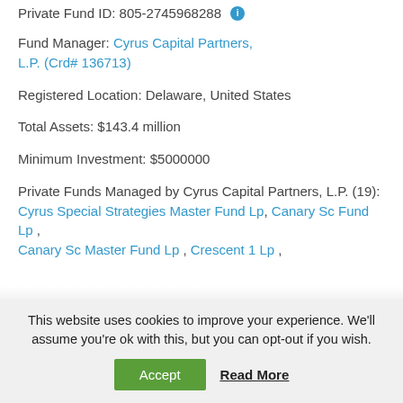Private Fund ID: 805-2745968288
Fund Manager: Cyrus Capital Partners, L.P. (Crd# 136713)
Registered Location: Delaware, United States
Total Assets: $143.4 million
Minimum Investment: $5000000
Private Funds Managed by Cyrus Capital Partners, L.P. (19): Cyrus Special Strategies Master Fund Lp, Canary Sc Fund Lp, Canary Sc Master Fund Lp, Crescent 1 Lp,
This website uses cookies to improve your experience. We'll assume you're ok with this, but you can opt-out if you wish.
Accept  Read More